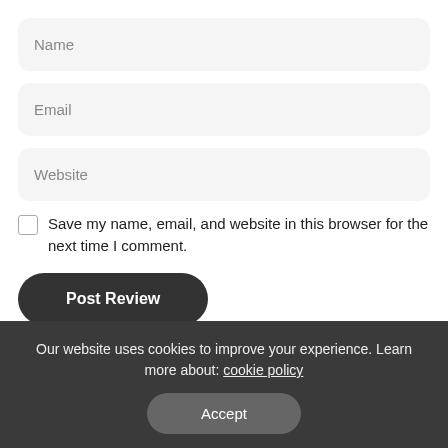Name
Email
Website
Save my name, email, and website in this browser for the next time I comment.
Post Review
Latest posts
[Figure (photo): Partial thumbnail image strip for latest posts]
Our website uses cookies to improve your experience. Learn more about: cookie policy
Accept